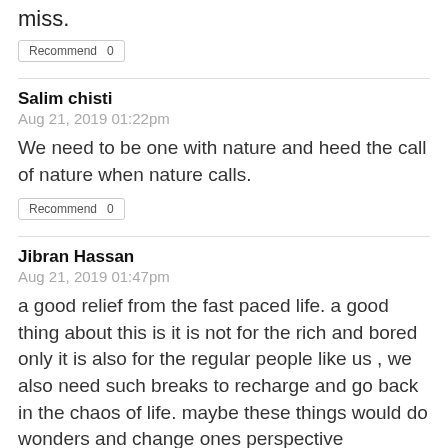miss.
Recommend  0
Salim chisti
Aug 21, 2019 01:22pm
We need to be one with nature and heed the call of nature when nature calls.
Recommend  0
Jibran Hassan
Aug 21, 2019 01:47pm
a good relief from the fast paced life. a good thing about this is it is not for the rich and bored only it is also for the regular people like us , we also need such breaks to recharge and go back in the chaos of life. maybe these things would do wonders and change ones perspective